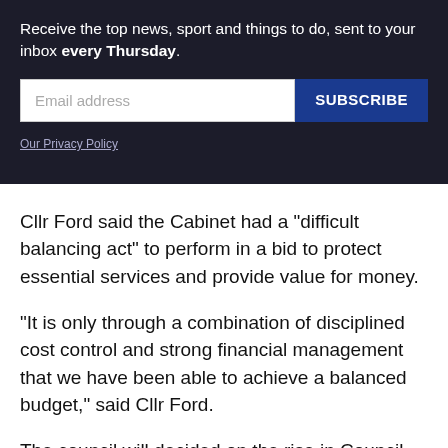Receive the top news, sport and things to do, sent to your inbox every Thursday.
[Figure (other): Email subscription form with email address input field and SUBSCRIBE button]
Our Privacy Policy
Cllr Ford said the Cabinet had a "difficult balancing act" to perform in a bid to protect essential services and provide value for money.
"It is only through a combination of disciplined cost control and strong financial management that we have been able to achieve a balanced budget," said Cllr Ford.
The council will decided on the rise in Council Tax at a meeting on Thursday.